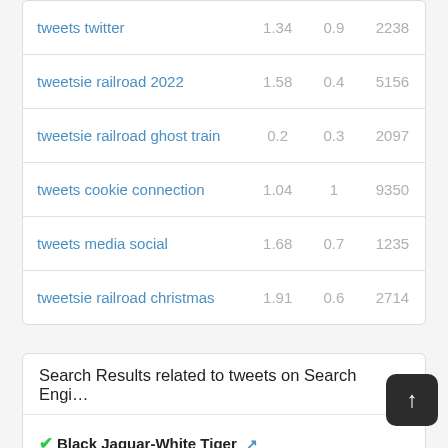| Keyword | Col1 | Col2 | Col3 |
| --- | --- | --- | --- |
| tweets twitter | 1.34 | 0.9 | 2238 |
| tweetsie railroad 2022 | 1.58 | 0.4 | 5156 |
| tweetsie railroad ghost train | 0.2 | 0.3 | 2097 |
| tweets cookie connection | 1.04 | 1 | 9350 |
| tweets media social | 1.68 | 0.7 | 1235 |
| tweetsie railroad christmas | 1.91 | 0.6 | 2714 |
Search Results related to tweets on Search Engine
✔Black Jaguar-White Tiger 🔗